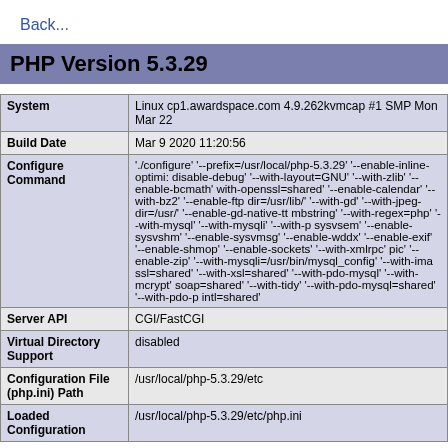Back...
PHP Version 5.3.29
| System | Linux cp1.awardspace.com 4.9.262kvmcap #1 SMP Mon Mar 22 |
| Build Date | Mar 9 2020 11:20:56 |
| Configure Command | './configure' '--prefix=/usr/local/php-5.3.29' '--enable-inline-optimi: disable-debug' '--with-layout=GNU' '--with-zlib' '--enable-bcmath' with-openssl=shared' '--enable-calendar' '--with-bz2' '--enable-ftp dir=/usr/lib/' '--with-gd' '--with-jpeg-dir=/usr/' '--enable-gd-native-tt mbstring' '--with-regex=php' '--with-mysql' '--with-mysqli' '--with-p sysvsem' '--enable-sysvshm' '--enable-sysvmsg' '--enable-wddx' '--enable-exif' '--enable-shmop' '--enable-sockets' '--with-xmlrpc' pic' '--enable-zip' '--with-mysqli=/usr/bin/mysql_config' '--with-ima ssl=shared' '--with-xsl=shared' '--with-pdo-mysql' '--with-mcrypt' soap=shared' '--with-tidy' '--with-pdo-mysql=shared' '--with-pdo-p intl=shared' |
| Server API | CGI/FastCGI |
| Virtual Directory Support | disabled |
| Configuration File (php.ini) Path | /usr/local/php-5.3.29/etc |
| Loaded Configuration | /usr/local/php-5.3.29/etc/php.ini |